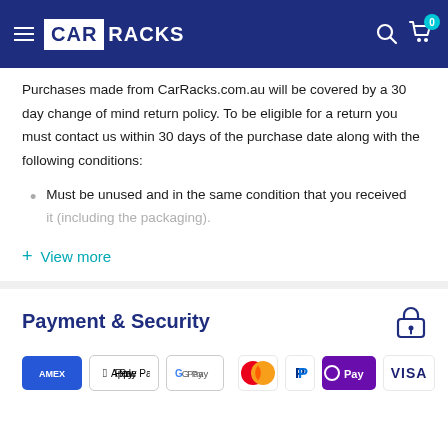CAR RACKS
Purchases made from CarRacks.com.au will be covered by a 30 day change of mind return policy. To be eligible for a return you must contact us within 30 days of the purchase date along with the following conditions:
Must be unused and in the same condition that you received it (including the packaging).
+ View more
Payment & Security
[Figure (logo): Payment method logos: American Express, Apple Pay, Google Pay, JCB, Mastercard, PayPal, OPay, Visa]